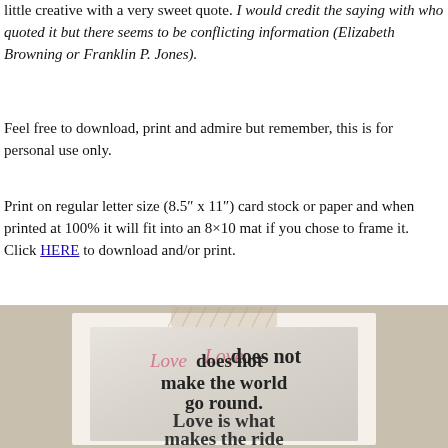little creative with a very sweet quote. I would credit the saying with who quoted it but there seems to be conflicting information (Elizabeth Browning or Franklin P. Jones).
Feel free to download, print and admire but remember, this is for personal use only.
Print on regular letter size (8.5″ x 11″) card stock or paper and when printed at 100% it will fit into an 8×10 mat if you chose to frame it. Click HERE to download and/or print.
[Figure (illustration): A framed print on a tan/beige background, held by a piece of tape at the top. The print has a light grey-green vintage texture and displays the quote: 'Love does not make the world go round. Love is what makes the ride...' with 'Love' in pink cursive script and the rest in dark bold serif text.]